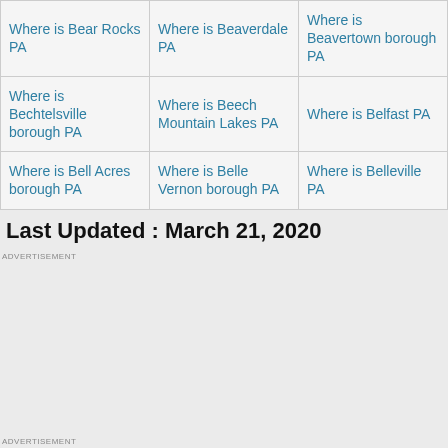| Where is Bear Rocks PA | Where is Beaverdale PA | Where is Beavertown borough PA |
| Where is Bechtelsville borough PA | Where is Beech Mountain Lakes PA | Where is Belfast PA |
| Where is Bell Acres borough PA | Where is Belle Vernon borough PA | Where is Belleville PA |
Last Updated : March 21, 2020
ADVERTISEMENT
ADVERTISEMENT